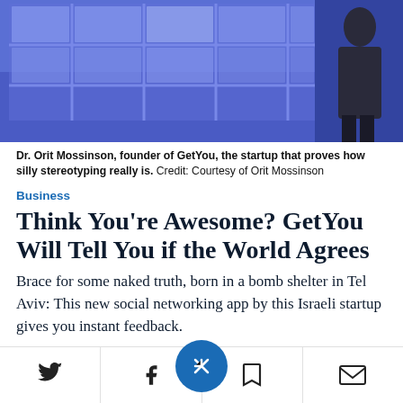[Figure (photo): Photo of Dr. Orit Mossinson on a blue-lit stage with grid window background]
Dr. Orit Mossinson, founder of GetYou, the startup that proves how silly stereotyping really is. Credit: Courtesy of Orit Mossinson
Business
Think You're Awesome? GetYou Will Tell You if the World Agrees
Brace for some naked truth, born in a bomb shelter in Tel Aviv: This new social networking app by this Israeli startup gives you instant feedback.
Shoshana Kordova